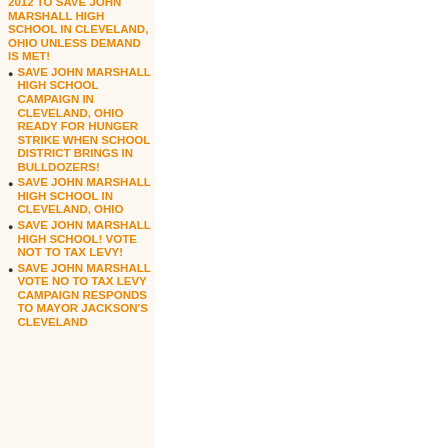2012 TO SAVE JOHN MARSHALL HIGH SCHOOL IN CLEVELAND, OHIO UNLESS DEMAND IS MET!
SAVE JOHN MARSHALL HIGH SCHOOL CAMPAIGN IN CLEVELAND, OHIO READY FOR HUNGER STRIKE WHEN SCHOOL DISTRICT BRINGS IN BULLDOZERS!
SAVE JOHN MARSHALL HIGH SCHOOL IN CLEVELAND, OHIO
SAVE JOHN MARSHALL HIGH SCHOOL! VOTE NOT TO TAX LEVY!
SAVE JOHN MARSHALL VOTE NO TO TAX LEVY CAMPAIGN RESPONDS TO MAYOR JACKSON'S CLEVELAND